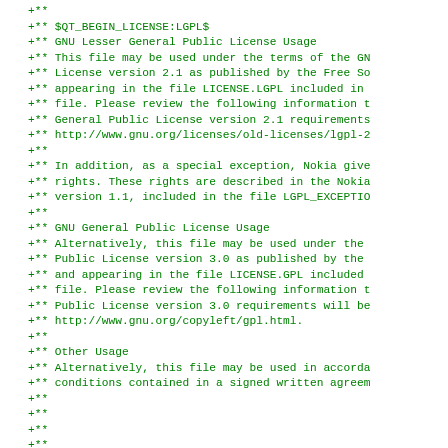+**
+** $QT_BEGIN_LICENSE:LGPL$
+** GNU Lesser General Public License Usage
+** This file may be used under the terms of the GN
+** License version 2.1 as published by the Free So
+** appearing in the file LICENSE.LGPL included in
+** file. Please review the following information t
+** General Public License version 2.1 requirements
+** http://www.gnu.org/licenses/old-licenses/lgpl-2
+**
+** In addition, as a special exception, Nokia give
+** rights. These rights are described in the Nokia
+** version 1.1, included in the file LGPL_EXCEPTIO
+**
+** GNU General Public License Usage
+** Alternatively, this file may be used under the
+** Public License version 3.0 as published by the
+** and appearing in the file LICENSE.GPL included
+** file. Please review the following information t
+** Public License version 3.0 requirements will be
+** http://www.gnu.org/copyleft/gpl.html.
+**
+** Other Usage
+** Alternatively, this file may be used in accorda
+** conditions contained in a signed written agreem
+**
+**
+**
+**
+**